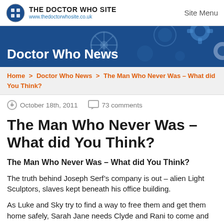THE DOCTOR WHO SITE www.thedoctorwhosite.co.uk   Site Menu
[Figure (illustration): Blue banner with Doctor Who News title and decorative gear/circle patterns]
Home > Doctor Who News > The Man Who Never Was – What did You Think?
October 18th, 2011   73 comments
The Man Who Never Was – What did You Think?
The Man Who Never Was – What did You Think?
The truth behind Joseph Serf's company is out – alien Light Sculptors, slaves kept beneath his office building.
As Luke and Sky try to find a way to free them and get them home safely, Sarah Jane needs Clyde and Rani to come and help her – and got married along the way.